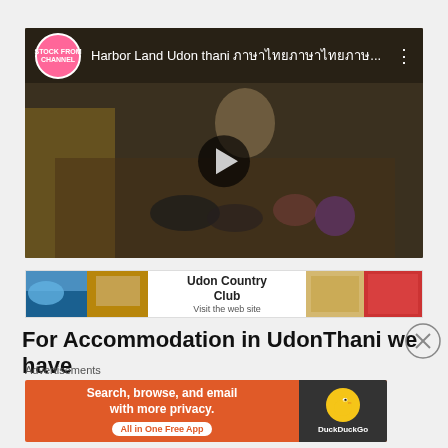[Figure (screenshot): YouTube video thumbnail showing 'Harbor Land Udon thani ภาษาไทย...' with channel avatar, dark overlay, and play button. Video appears to show children playing with toy food items.]
[Figure (screenshot): Advertisement banner for 'Udon Country Club - Visit the web site' with resort/facility photos on left and right sides.]
For Accommodation in UdonThani we have
Advertisements
[Figure (screenshot): DuckDuckGo advertisement banner: 'Search, browse, and email with more privacy. All in One Free App' with DuckDuckGo duck logo on dark background on the right side.]